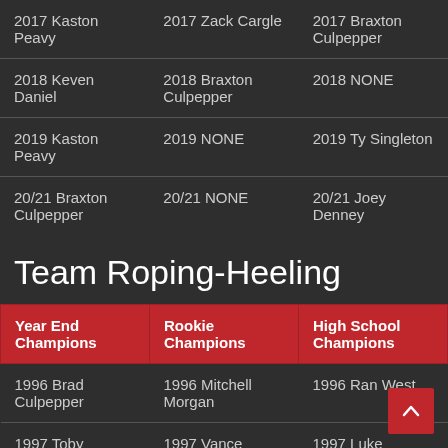| Year End Champions | Rookie Champions | High School Champions |
| --- | --- | --- |
| 2017 Kaston Peavy | 2017 Zack Cargle | 2017 Braxton Culpepper |
| 2018 Keven Daniel | 2018 Braxton Culpepper | 2018 NONE |
| 2019 Kaston Peavy | 2019 NONE | 2019 Ty Singleton |
| 20/21 Braxton Culpepper | 20/21 NONE | 20/21 Joey Denney |
Team Roping-Heeling
| Year End Champions | Rookie Champions | High School Champions |
| --- | --- | --- |
| 1996 Brad Culpepper | 1996 Mitchell Morgan | 1996 Ran West |
| 1997 Toby Foshee | 1997 Vance Cauley | 1997 Luke Campbell |